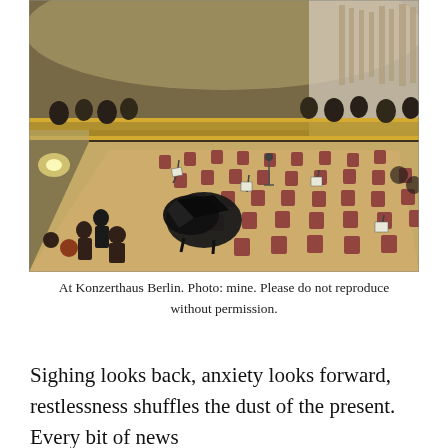[Figure (photo): Interior of Konzerthaus Berlin concert hall viewed from above, showing the stage with a grand piano, orchestra chairs arranged in a semicircle, music stands, and balcony seating with ornate gold decorations and pipe organ in the background.]
At Konzerthaus Berlin. Photo: mine. Please do not reproduce without permission.
Sighing looks back, anxiety looks forward, restlessness shuffles the dust of the present. Every bit of news